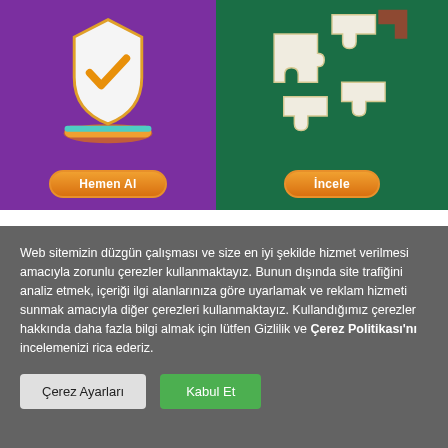[Figure (illustration): Purple background card with a 3D orange shield with checkmark icon on a gold/teal platform base, and an orange rounded button labeled 'Hemen Al']
[Figure (illustration): Green background card with white 3D puzzle pieces icon, and an orange rounded button labeled 'İncele']
Web sitemizin düzgün çalışması ve size en iyi şekilde hizmet verilmesi amacıyla zorunlu çerezler kullanmaktayız. Bunun dışında site trafiğini analiz etmek, içeriği ilgi alanlarınıza göre uyarlamak ve reklam hizmeti sunmak amacıyla diğer çerezleri kullanmaktayız. Kullandığımız çerezler hakkında daha fazla bilgi almak için lütfen Gizlilik ve Çerez Politikası'nı incelemenizi rica ederiz.
Çerez Ayarları
Kabul Et